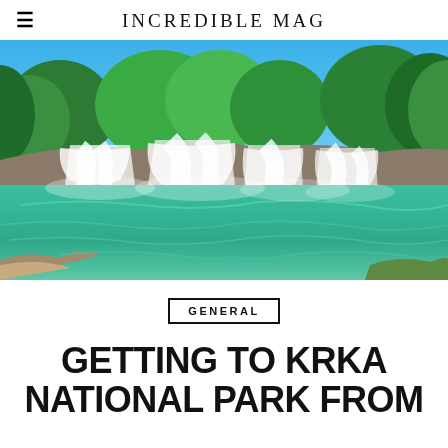INCREDIBLE MAG
[Figure (photo): Aerial/wide view of Krka waterfalls with turquoise green water, white cascading waterfalls, and dense green trees under a bright blue sky.]
GENERAL
GETTING TO KRKA NATIONAL PARK FROM